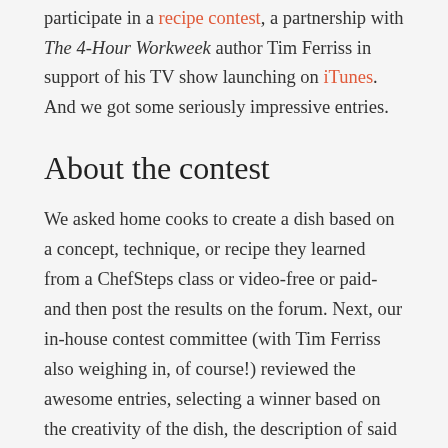participate in a recipe contest, a partnership with The 4-Hour Workweek author Tim Ferriss in support of his TV show launching on iTunes. And we got some seriously impressive entries.
About the contest
We asked home cooks to create a dish based on a concept, technique, or recipe they learned from a ChefSteps class or video-free or paid-and then post the results on the forum. Next, our in-house contest committee (with Tim Ferriss also weighing in, of course!) reviewed the awesome entries, selecting a winner based on the creativity of the dish, the description of said dish, and the social media strategy used to promote it.